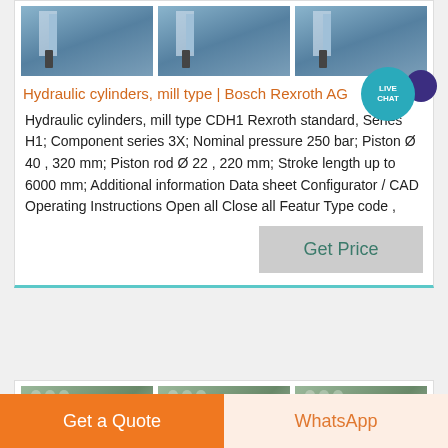[Figure (photo): Three product photos of hydraulic cylinders mill type, each showing industrial machinery with blue structures and a person standing nearby]
Hydraulic cylinders, mill type | Bosch Rexroth AG
Hydraulic cylinders, mill type CDH1 Rexroth standard, Series H1; Component series 3X; Nominal pressure 250 bar; Piston Ø 40 , 320 mm; Piston rod Ø 22 , 220 mm; Stroke length up to 6000 mm; Additional information Data sheet Configurator / CAD Operating Instructions Open all Close all Featur Type code ,
[Figure (screenshot): LIVE CHAT bubble icon overlay]
[Figure (photo): Three product photos of industrial hydraulic cylinder equipment, aerial/overhead view showing silo-like structures]
Get Price
Get a Quote
WhatsApp